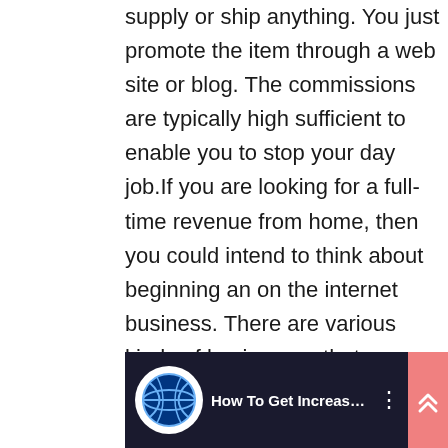supply or ship anything. You just promote the item through a web site or blog. The commissions are typically high sufficient to enable you to stop your day job.If you are looking for a full-time revenue from home, then you could intend to think about beginning an on the internet business. There are various kinds of businesses that you can begin. You can market your own products, market other individuals products, and even sell advertising room on your site.Another method to make money online is by offering electronic items. You can develop an item that you can offer online.
[Figure (screenshot): Video thumbnail showing a dark background with a circular logo on the left and the title text 'How To Get Increased Sa...' with a three-dot menu icon on the right.]